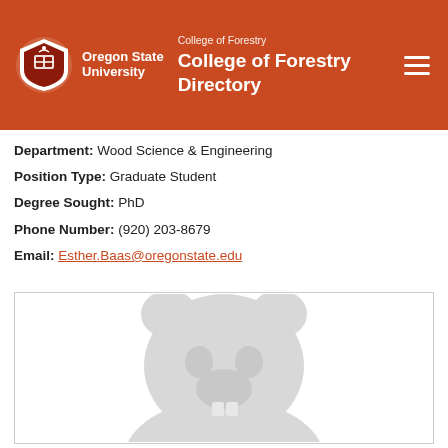College of Forestry — College of Forestry Directory
Department: Wood Science & Engineering
Position Type: Graduate Student
Degree Sought: PhD
Phone Number: (920) 203-8679
Email: Esther.Baas@oregonstate.edu
[Figure (photo): Default placeholder profile photo showing a generic bear/beaver mascot silhouette in light gray]